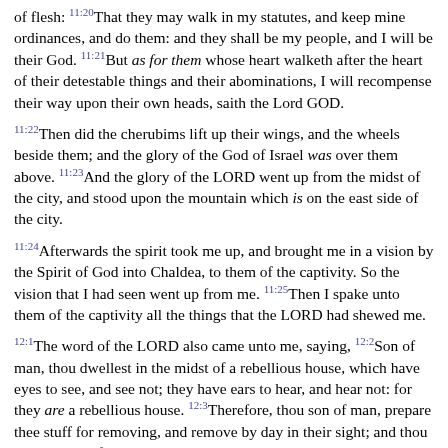of flesh: [11:20]That they may walk in my statutes, and keep mine ordinances, and do them: and they shall be my people, and I will be their God. [11:21]But as for them whose heart walketh after the heart of their detestable things and their abominations, I will recompense their way upon their own heads, saith the Lord GOD.
[11:22]Then did the cherubims lift up their wings, and the wheels beside them; and the glory of the God of Israel was over them above. [11:23]And the glory of the LORD went up from the midst of the city, and stood upon the mountain which is on the east side of the city.
[11:24]Afterwards the spirit took me up, and brought me in a vision by the Spirit of God into Chaldea, to them of the captivity. So the vision that I had seen went up from me. [11:25]Then I spake unto them of the captivity all the things that the LORD had shewed me.
[12:1]The word of the LORD also came unto me, saying, [12:2]Son of man, thou dwellest in the midst of a rebellious house, which have eyes to see, and see not; they have ears to hear, and hear not: for they are a rebellious house. [12:3]Therefore, thou son of man, prepare thee stuff for removing, and remove by day in their sight; and thou shalt remove from thy place to another place in their sight: it may be they will consider, though they be a rebellious house. [12:4]Then shalt thou bring forth thy stuff by day in their sight, as stuff for